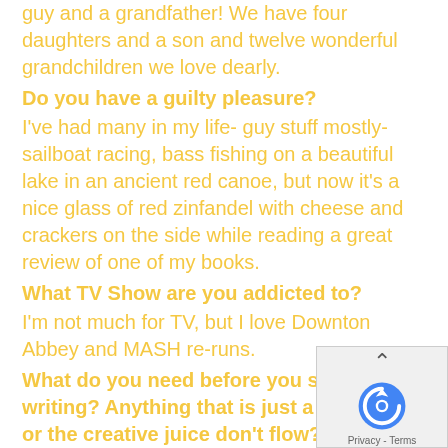guy and a grandfather! We have four daughters and a son and twelve wonderful grandchildren we love dearly.
Do you have a guilty pleasure?
I've had many in my life- guy stuff mostly- sailboat racing, bass fishing on a beautiful lake in an ancient red canoe, but now it's a nice glass of red zinfandel with cheese and crackers on the side while reading a great review of one of my books.
What TV Show are you addicted to?
I'm not much for TV, but I love Downton Abbey and MASH re-runs.
What do you need before you start writing? Anything that is just a must have or the creative juice don't flow?
I need an idea for the scene I'm working on actually think about the scene for a bit before I put words to paper. I can write with the TV